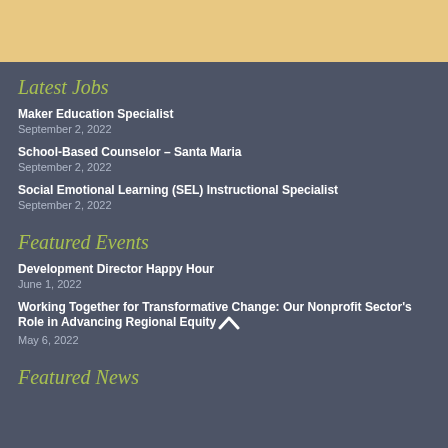[Figure (other): Gold/tan decorative header bar at top of page]
Latest Jobs
Maker Education Specialist
September 2, 2022
School-Based Counselor – Santa Maria
September 2, 2022
Social Emotional Learning (SEL) Instructional Specialist
September 2, 2022
Featured Events
Development Director Happy Hour
June 1, 2022
Working Together for Transformative Change: Our Nonprofit Sector's Role in Advancing Regional Equity
May 6, 2022
Featured News